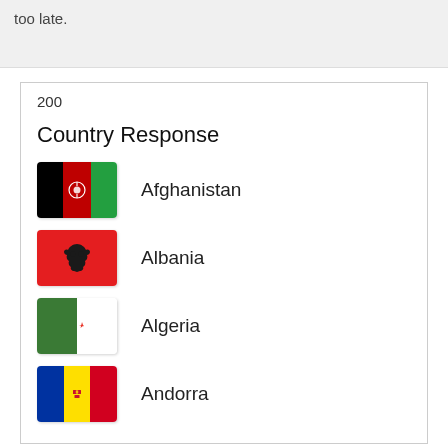too late.
200
Country Response
Afghanistan
Albania
Algeria
Andorra